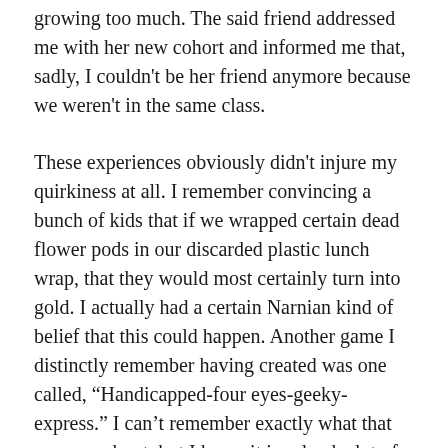growing too much. The said friend addressed me with her new cohort and informed me that, sadly, I couldn't be her friend anymore because we weren't in the same class.
These experiences obviously didn't injure my quirkiness at all. I remember convincing a bunch of kids that if we wrapped certain dead flower pods in our discarded plastic lunch wrap, that they would most certainly turn into gold. I actually had a certain Narnian kind of belief that this could happen. Another game I distinctly remember having created was one called, "Handicapped-four eyes-geeky-express." I can't remember exactly what that one was about, but I know it involved a lot of sitting in trees and answering the 'phone'. Undoubtedly the most destructive/dangerous was 'The Bee Clinic'. It was as it sounds…we would